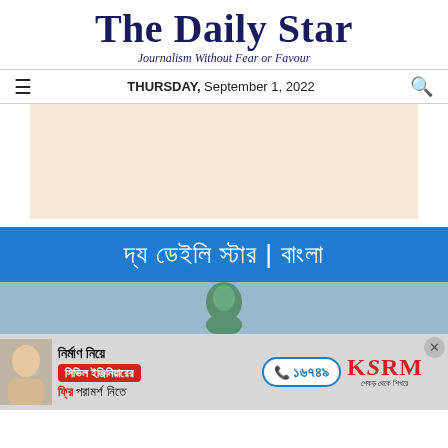The Daily Star
Journalism Without Fear or Favour
THURSDAY, September 1, 2022
[Figure (other): Beige/cream colored advertisement banner placeholder]
[Figure (other): Blue banner with Bengali text: দ্য ডেইলি স্টার | বাংলা (The Daily Star Bangla)]
[Figure (other): Light blue article preview section with partial person image]
[Figure (other): Bottom advertisement for KSRM civil engineering services with phone number ১৬৭৪৯ and close button]